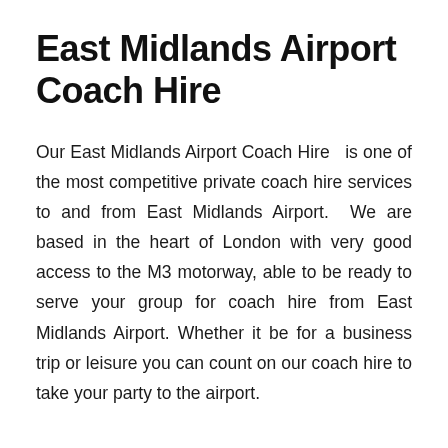East Midlands Airport Coach Hire
Our East Midlands Airport Coach Hire  is one of the most competitive private coach hire services to and from East Midlands Airport.  We are based in the heart of London with very good access to the M3 motorway, able to be ready to serve your group for coach hire from East Midlands Airport.  Whether it be for a business trip or leisure you can count on our coach hire to take your party to the airport.